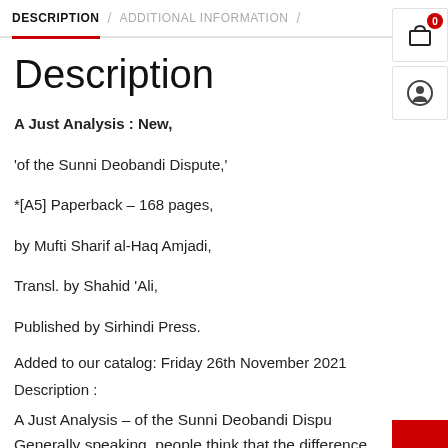DESCRIPTION / ADDITIONAL INFORMATION /
Description
A Just Analysis : New,
'of the Sunni Deobandi Dispute,'
*[A5] Paperback – 168 pages,
by Mufti Sharif al-Haq Amjadi,
Transl. by Shahid 'Ali,
Published by Sirhindi Press.
Added to our catalog: Friday 26th November 2021
Description :
A Just Analysis – of the Sunni Deobandi Dispute.
Generally speaking, people think that the difference
between Sunnis and Deoband is limited to the